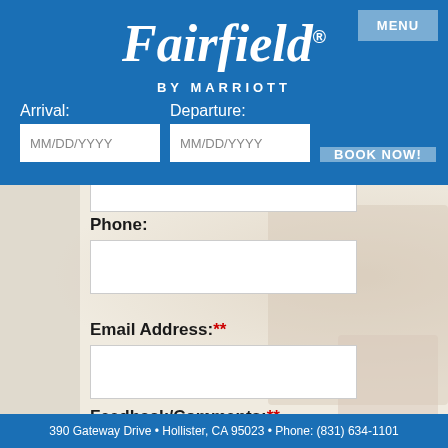Fairfield® by Marriott
Arrival: MM/DD/YYYY  Departure: MM/DD/YYYY  BOOK NOW!
Phone:
Email Address:**
Feedback/Comments:**
390 Gateway Drive • Hollister, CA 95023 • Phone: (831) 634-1101